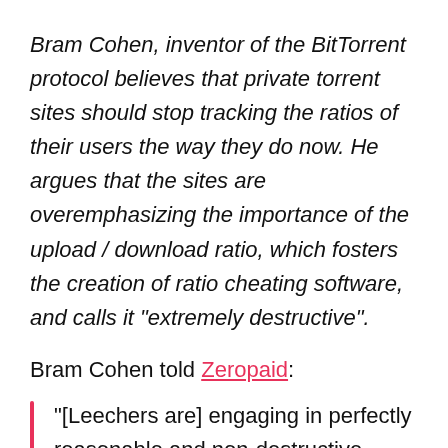Bram Cohen, inventor of the BitTorrent protocol believes that private torrent sites should stop tracking the ratios of their users the way they do now. He argues that the sites are overemphasizing the importance of the upload / download ratio, which fosters the creation of ratio cheating software, and calls it "extremely destructive".
Bram Cohen told Zeropaid:
“[Leechers are] engaging in perfectly reasonable and non-destructive behavior